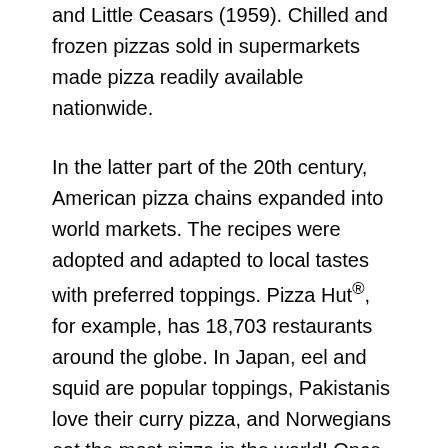and Little Ceasars (1959). Chilled and frozen pizzas sold in supermarkets made pizza readily available nationwide.
In the latter part of the 20th century, American pizza chains expanded into world markets. The recipes were adopted and adapted to local tastes with preferred toppings. Pizza Hut®, for example, has 18,703 restaurants around the globe. In Japan, eel and squid are popular toppings, Pakistanis love their curry pizza, and Norwegians eat the most pizza in the world! Once the provenance of the Italian poor, pizza has become one of the most recognized and popular dishes worldwide.
Coffee